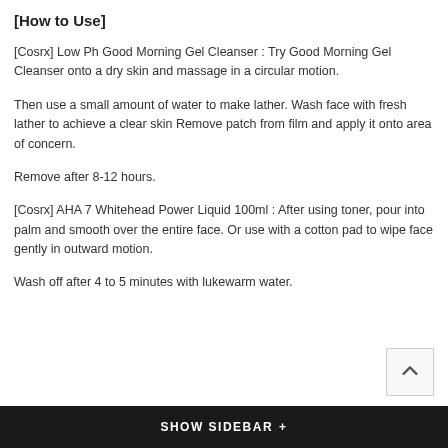[How to Use]
[Cosrx] Low Ph Good Morning Gel Cleanser : Try Good Morning Gel Cleanser onto a dry skin and massage in a circular motion.
Then use a small amount of water to make lather. Wash face with fresh lather to achieve a clear skin Remove patch from film and apply it onto area of concern.
Remove after 8-12 hours.
[Cosrx] AHA 7 Whitehead Power Liquid 100ml : After using toner, pour into palm and smooth over the entire face. Or use with a cotton pad to wipe face gently in outward motion.
Wash off after 4 to 5 minutes with lukewarm water.
SHOW SIDEBAR +